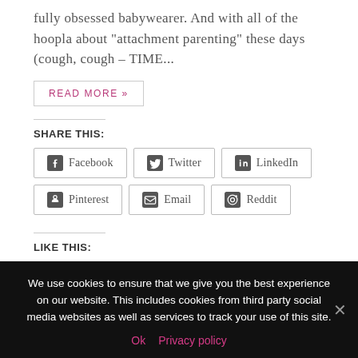fully obsessed babywear. And with all of the hoopla about "attachment parenting" these days (cough, cough – TIME...
READ MORE »
SHARE THIS:
Facebook
Twitter
LinkedIn
Pinterest
Email
Reddit
LIKE THIS:
We use cookies to ensure that we give you the best experience on our website. This includes cookies from third party social media websites as well as services to track your use of this site.
Ok   Privacy policy